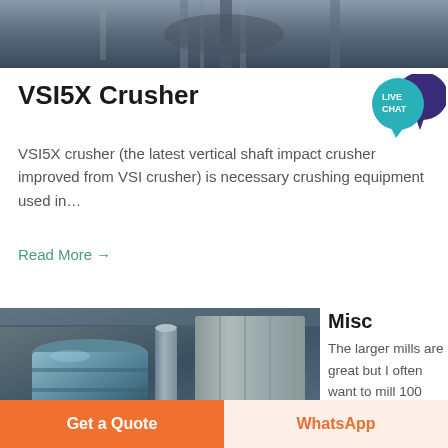[Figure (photo): Industrial crusher equipment, overhead/top view, dark metallic machinery]
VSI5X Crusher
[Figure (infographic): Live Chat speech bubble icon in teal and dark purple]
VSI5X crusher (the latest vertical shaft impact crusher improved from VSI crusher) is necessary crushing equipment used in…
Read More →
[Figure (photo): Industrial mill machinery inside a factory building — large cylindrical tank and filter equipment]
Misc
The larger mills are great but I often want to mill 100 grams
Get a Quote
WhatsApp